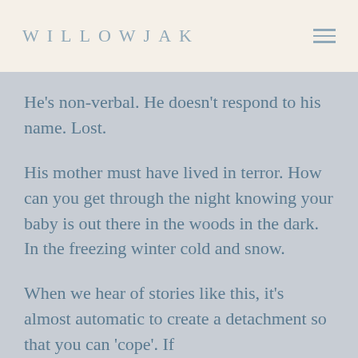WILLOWJAK
He's non-verbal. He doesn't respond to his name. Lost.
His mother must have lived in terror. How can you get through the night knowing your baby is out there in the woods in the dark. In the freezing winter cold and snow.
When we hear of stories like this, it's almost automatic to create a detachment so that you can 'cope'. If